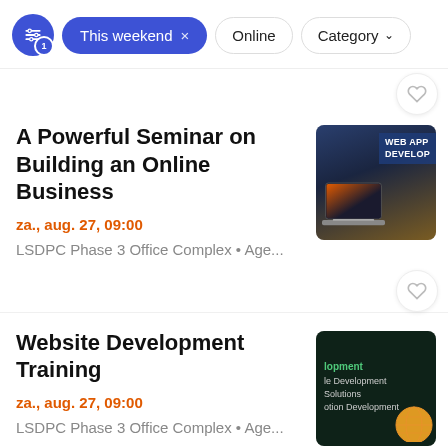This weekend × | Online | Category
A Powerful Seminar on Building an Online Business
za., aug. 27, 09:00
LSDPC Phase 3 Office Complex • Age...
[Figure (screenshot): Laptop image with text overlay reading WEB APP DEVELOPMENT]
Website Development Training
za., aug. 27, 09:00
LSDPC Phase 3 Office Complex • Age...
[Figure (screenshot): Dark green background with text: lopment, le Development, Solutions, otion Development, and a globe graphic]